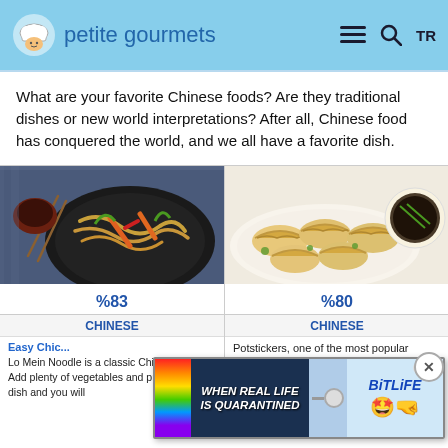petite gourmets
What are your favorite Chinese foods? Are they traditional dishes or new world interpretations? After all, Chinese food has conquered the world, and we all have a favorite dish.
[Figure (photo): Plate of lo mein noodles with vegetables on a dark plate with chopsticks]
[Figure (photo): Potsticker dumplings on a white plate with a dipping sauce bowl]
%83
%80
CHINESE
CHINESE
Easy Chic...
Lo Mein Noodle is a classic Chinese dish. Add plenty of vegetables and protein to this dish and you will
Potstickers, one of the most popular appetizers of Chinese cuisine, are usually made with pork. You can also
[Figure (screenshot): BitLife advertisement banner - WHEN REAL LIFE IS QUARANTINED]